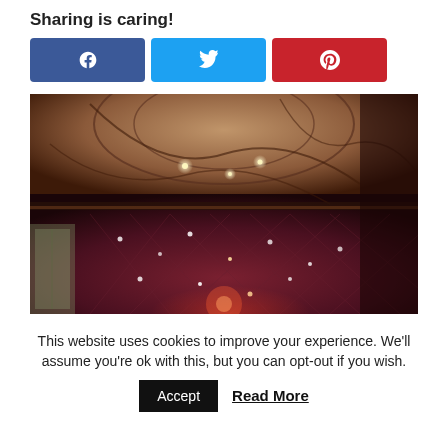Sharing is caring!
[Figure (screenshot): Three social share buttons: Facebook (dark blue with 'f' icon), Twitter (light blue with bird icon), Pinterest (red with 'p' icon)]
[Figure (photo): Interior photo of an ornate room or venue with decorated ceiling featuring swirling patterns, chandeliers, and walls with diamond-quilted pattern illuminated with small lights, taken in low warm lighting]
This website uses cookies to improve your experience. We'll assume you're ok with this, but you can opt-out if you wish.
Accept  Read More